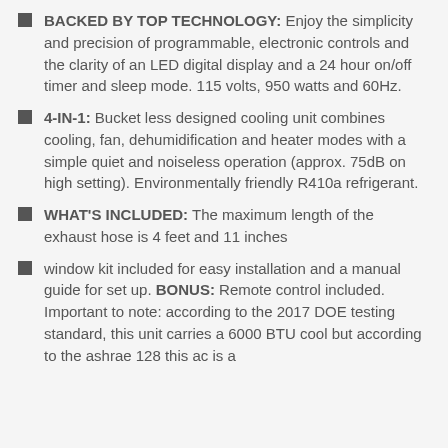BACKED BY TOP TECHNOLOGY: Enjoy the simplicity and precision of programmable, electronic controls and the clarity of an LED digital display and a 24 hour on/off timer and sleep mode. 115 volts, 950 watts and 60Hz.
4-IN-1: Bucket less designed cooling unit combines cooling, fan, dehumidification and heater modes with a simple quiet and noiseless operation (approx. 75dB on high setting). Environmentally friendly R410a refrigerant.
WHAT'S INCLUDED: The maximum length of the exhaust hose is 4 feet and 11 inches
window kit included for easy installation and a manual guide for set up. BONUS: Remote control included. Important to note: according to the 2017 DOE testing standard, this unit carries a 6000 BTU cool but according to the ashrae 128 this ac is a